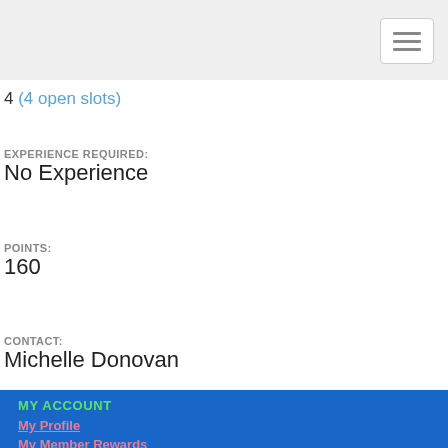4 (4 open slots)
EXPERIENCE REQUIRED:
No Experience
POINTS:
160
CONTACT:
Michelle Donovan
MY ACCOUNT
My Profile
My Member Rewards
Renew Membership
COMMUNITIES
CONVENTION 2021